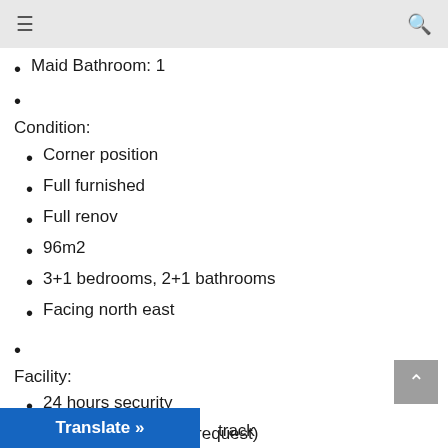≡   🔍
Maid Bathroom: 1
Condition:
Corner position
Full furnished
Full renov
96m2
3+1 bedrooms, 2+1 bathrooms
Facing north east
Facility:
24 hours security
Internet/Wifi (as per request)
Swimming pool
Children playground
Sports field
Fitness/gym
track